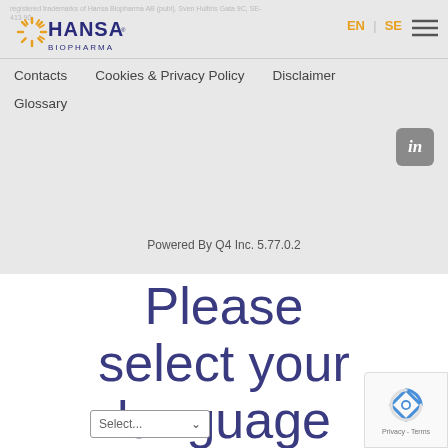[Figure (logo): Hansa Biopharma logo with orange sunburst and blue text]
EN  SE
Contacts    Cookies & Privacy Policy    Disclaimer    Glossary
[Figure (other): LinkedIn icon square]
Powered By Q4 Inc. 5.77.0.2
Please select your language
[Figure (other): Select... dropdown with chevron]
[Figure (other): reCAPTCHA widget showing Privacy - Terms]